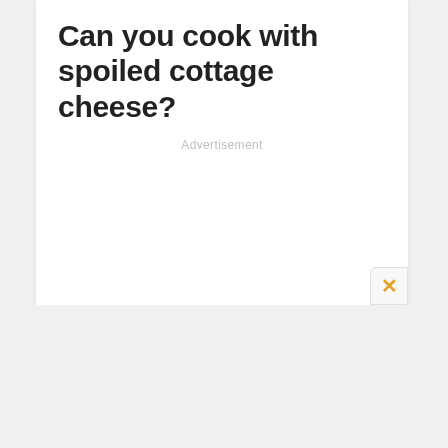Can you cook with spoiled cottage cheese?
Advertisement